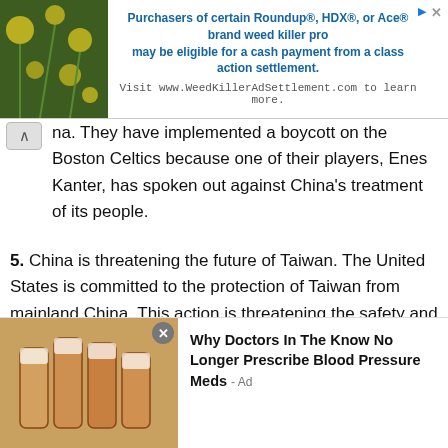[Figure (photo): Advertisement banner with plant/flower image and text about Roundup weed killer class action settlement]
na. They have implemented a boycott on the Boston Celtics because one of their players, Enes Kanter, has spoken out against China's treatment of its people.
5. China is threatening the future of Taiwan. The United States is committed to the protection of Taiwan from mainland China. This action is threatening the safety and security of all countries in the South Pacific.
"*" indicates required fields
Do you believe the FBI was planting
[Figure (photo): Advertisement showing prescription medication bottles with text: Why Doctors In The Know No Longer Prescribe Blood Pressure Meds - Ad]